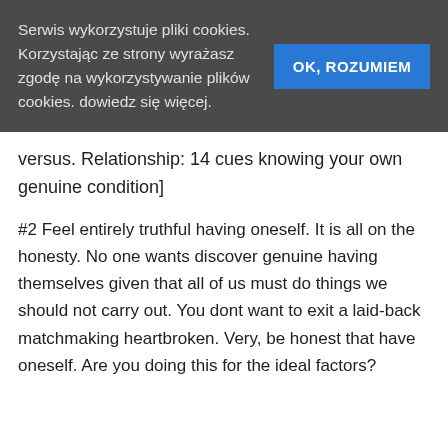Serwis wykorzystuje pliki cookies. Korzystając ze strony wyrażasz zgodę na wykorzystywanie plików cookies. dowiedz się więcej.
OK, ROZUMIEM
versus. Relationship: 14 cues knowing your own genuine condition]
#2 Feel entirely truthful having oneself. It is all on the honesty. No one wants discover genuine having themselves given that all of us must do things we should not carry out. You dont want to exit a laid-back matchmaking heartbroken. Very, be honest that have oneself. Are you doing this for the ideal factors?